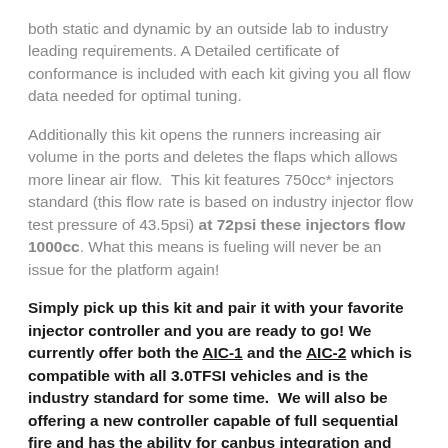both static and dynamic by an outside lab to industry leading requirements. A Detailed certificate of conformance is included with each kit giving you all flow data needed for optimal tuning.
Additionally this kit opens the runners increasing air volume in the ports and deletes the flaps which allows more linear air flow.  This kit features 750cc* injectors standard (this flow rate is based on industry injector flow test pressure of 43.5psi) at 72psi these injectors flow 1000cc. What this means is fueling will never be an issue for the platform again!
Simply pick up this kit and pair it with your favorite injector controller and you are ready to go! We currently offer both the AIC-1 and the AIC-2 which is compatible with all 3.0TFSI vehicles and is the industry standard for some time.  We will also be offering a new controller capable of full sequential fire and has the ability for canbus integration and